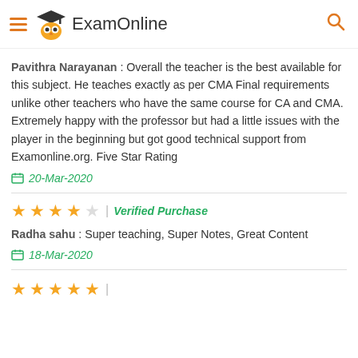ExamOnline
Pavithra Narayanan : Overall the teacher is the best available for this subject. He teaches exactly as per CMA Final requirements unlike other teachers who have the same course for CA and CMA. Extremely happy with the professor but had a little issues with the player in the beginning but got good technical support from Examonline.org. Five Star Rating
20-Mar-2020
Verified Purchase
Radha sahu : Super teaching, Super Notes, Great Content
18-Mar-2020